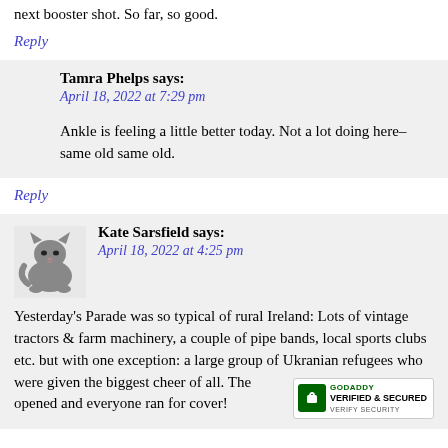next booster shot. So far, so good.
Reply
Tamra Phelps says:
April 18, 2022 at 7:29 pm
Ankle is feeling a little better today. Not a lot doing here– same old same old.
Reply
[Figure (photo): Small grey cat avatar image]
Kate Sarsfield says:
April 18, 2022 at 4:25 pm
Yesterday's Parade was so typical of rural Ireland: Lots of vintage tractors & farm machinery, a couple of pipe bands, local sports clubs etc. but with one exception: a large group of Ukranian refugees who were given the biggest cheer of all. The opened and everyone ran for cover!
[Figure (logo): GoDaddy Verified & Secured badge]